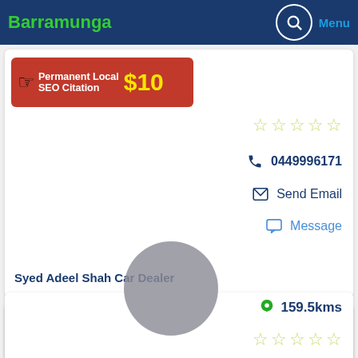Barramunga | Menu
[Figure (infographic): Red ad banner: Permanent Local SEO Citation $10 with hand pointer icon]
0449996171
Send Email
Message
Syed Adeel Shah Car Dealer
146.3kms
61450969696
Send Email
Message
Visit Website
National Vehicles
159.5kms